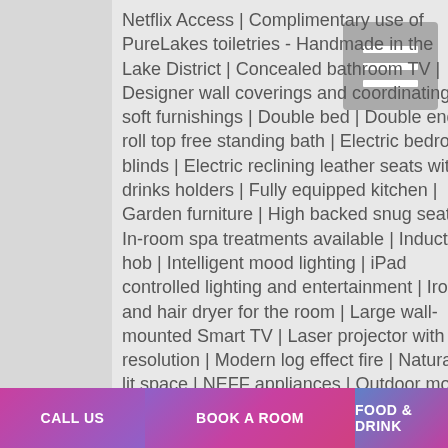Netflix Access | Complimentary use of PureLakes toiletries - Handmade in the Lake District | Concealed bathroom TV | Designer wall coverings and coordinating soft furnishings | Double bed | Double ended roll top free standing bath | Electric bedroom blinds | Electric reclining leather seats with drinks holders | Fully equipped kitchen | Garden furniture | High backed snug seats | In-room spa treatments available | Induction hob | Intelligent mood lighting | iPad controlled lighting and entertainment | Iron and hair dryer for the room | Large wall-mounted Smart TV | Laser projector with 4K resolution | Modern log effect fire | Naturally lit space | NEFF appliances | Outdoor mood lighting | Outdoor sound system | Outdoor surround sound speaker system (with bluetooth connectivity) | Pet review | Private hot tub in grounds | Private hot tub in
[Figure (other): Grey hamburger menu icon button with three white horizontal lines]
CALL US
BOOK A ROOM
FOOD & DRINK